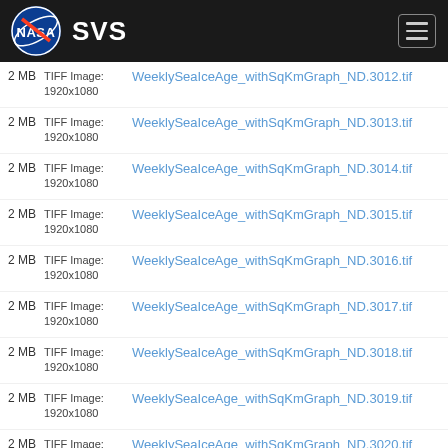NASA SVS
2 MB  TIFF Image: 1920x1080  WeeklySeaIceAge_withSqKmGraph_ND.3012.tif
2 MB  TIFF Image: 1920x1080  WeeklySeaIceAge_withSqKmGraph_ND.3013.tif
2 MB  TIFF Image: 1920x1080  WeeklySeaIceAge_withSqKmGraph_ND.3014.tif
2 MB  TIFF Image: 1920x1080  WeeklySeaIceAge_withSqKmGraph_ND.3015.tif
2 MB  TIFF Image: 1920x1080  WeeklySeaIceAge_withSqKmGraph_ND.3016.tif
2 MB  TIFF Image: 1920x1080  WeeklySeaIceAge_withSqKmGraph_ND.3017.tif
2 MB  TIFF Image: 1920x1080  WeeklySeaIceAge_withSqKmGraph_ND.3018.tif
2 MB  TIFF Image: 1920x1080  WeeklySeaIceAge_withSqKmGraph_ND.3019.tif
2 MB  TIFF Image: 1920x1080  WeeklySeaIceAge_withSqKmGraph_ND.3020.tif
2 MB  TIFF Image: 1920x1080  WeeklySeaIceAge_withSqKmGraph_ND.3021.tif